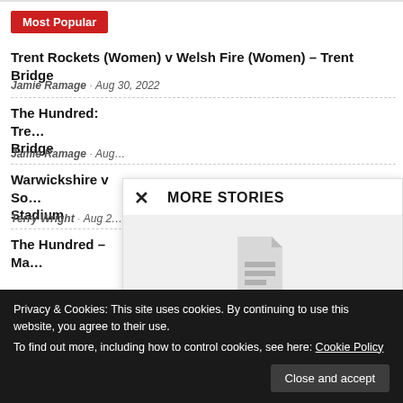Most Popular
Trent Rockets (Women) v Welsh Fire (Women) – Trent Bridge
Jamie Ramage · Aug 30, 2022
The Hundred: Trent … Bridge
Jamie Ramage · Aug …
Warwickshire v So… Stadium
Terry Wright · Aug 2…
The Hundred – Ma…
[Figure (screenshot): MORE STORIES modal overlay with close X button and a document placeholder image]
Privacy & Cookies: This site uses cookies. By continuing to use this website, you agree to their use.
To find out more, including how to control cookies, see here: Cookie Policy
Close and accept